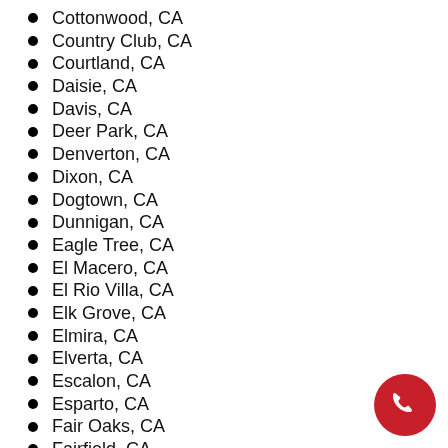Cottonwood, CA
Country Club, CA
Courtland, CA
Daisie, CA
Davis, CA
Deer Park, CA
Denverton, CA
Dixon, CA
Dogtown, CA
Dunnigan, CA
Eagle Tree, CA
El Macero, CA
El Rio Villa, CA
Elk Grove, CA
Elmira, CA
Elverta, CA
Escalon, CA
Esparto, CA
Fair Oaks, CA
Fairfield, CA
Farmington, CA
Folsom, CA